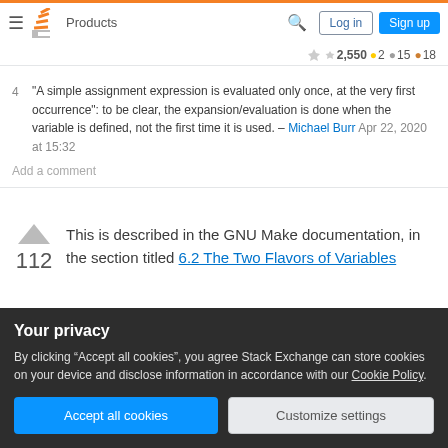≡ [Stack Overflow logo] Products 🔍 Log in Sign up
2,550 ●2 ●15 ●18
4 "A simple assignment expression is evaluated only once, at the very first occurrence": to be clear, the expansion/evaluation is done when the variable is defined, not the first time it is used. – Michael Burr Apr 22, 2020 at 15:32
Add a comment
This is described in the GNU Make documentation, in the section titled 6.2 The Two Flavors of Variables
112
Your privacy
By clicking "Accept all cookies", you agree Stack Exchange can store cookies on your device and disclose information in accordance with our Cookie Policy.
Accept all cookies  Customize settings
answered Feb 1, 2011 at 20:48